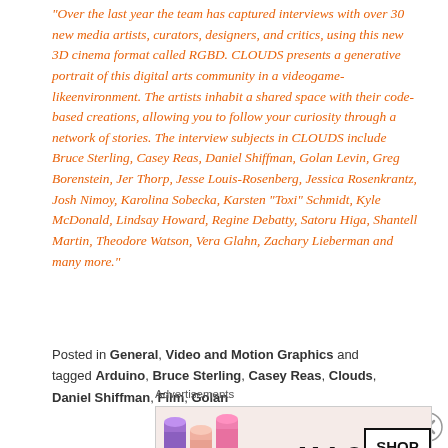“Over the last year the team has captured interviews with over 30 new media artists, curators, designers, and critics, using this new 3D cinema format called RGBD. CLOUDS presents a generative portrait of this digital arts community in a videogame-likeenvironment. The artists inhabit a shared space with their code-based creations, allowing you to follow your curiosity through a network of stories. The interview subjects in CLOUDS include Bruce Sterling, Casey Reas, Daniel Shiffman, Golan Levin, Greg Borenstein, Jer Thorp, Jesse Louis-Rosenberg, Jessica Rosenkrantz, Josh Nimoy, Karolina Sobecka, Karsten “Toxi” Schmidt, Kyle McDonald, Lindsay Howard, Regine Debatty, Satoru Higa, Shantell Martin, Theodore Watson, Vera Glahn, Zachary Lieberman and many more.”
Posted in General, Video and Motion Graphics and tagged Arduino, Bruce Sterling, Casey Reas, Clouds, Daniel Shiffman, Film, Golan
Advertisements
[Figure (photo): MAC cosmetics advertisement showing lipsticks (purple, peach, pink) and a red lipstick on the right, with MAC logo in script and a SHOP NOW button in a bordered box.]